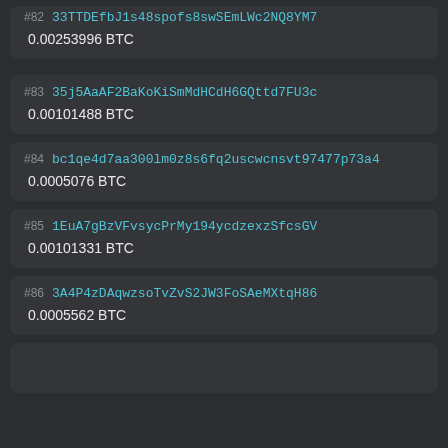#82 33TTDEfbJ1s48spofs8swSEmLWc2NQ8YM7
0.00253996 BTC
#83 35j5AaAF2BaKoKiSmMdHCdH6GQttd7FU3c
0.00101488 BTC
#84 bc1qe4d7aa300lm0z8s6fq2uscwcnsvt97477p73a4
0.0005076 BTC
#85 1EuA7gBzVFvsycPrMy194ycdzexzSfcsGV
0.00101331 BTC
#86 3A4P4zDAqwzsoTvZvS2JW3FoSAeMXtqH86
0.0005562 BTC